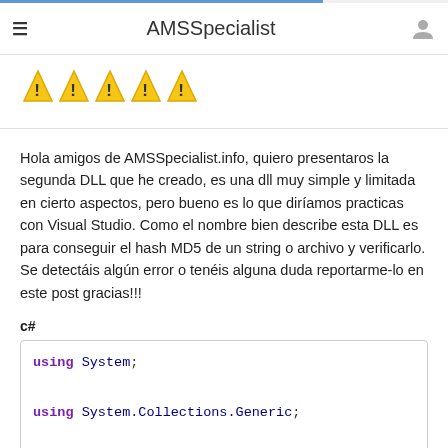AMSSpecialist
[Figure (illustration): Five yellow warning triangle icons with exclamation marks]
Hola amigos de AMSSpecialist.info, quiero presentaros la segunda DLL que he creado, es una dll muy simple y limitada en cierto aspectos, pero bueno es lo que diríamos practicas con Visual Studio. Como el nombre bien describe esta DLL es para conseguir el hash MD5 de un string o archivo y verificarlo. Se detectáis algún error o tenéis alguna duda reportarme-lo en este post gracias!!!
c#
using System;

using System.Collections.Generic;

using System.Security.Cryptography;

using System.Text;